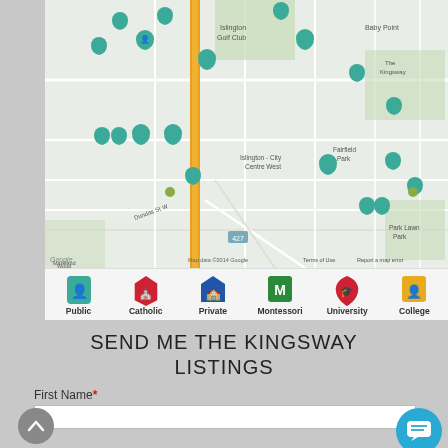[Figure (map): Google Map showing the Kingsway/Islington area in Toronto with multiple teal school/institution map pins scattered across the map. Map shows streets, neighborhoods including Islington Golf Club, Islington City Centre West, Fairfield Park, Park Lawn Park, and Markland Wood. Orange vertical road (likely Highway 427 or Kipling Ave) visible. Map data copyright 2014 Google.]
Public | Catholic | Private | Montessori | University | College
SEND ME THE KINGSWAY LISTINGS
First Name*